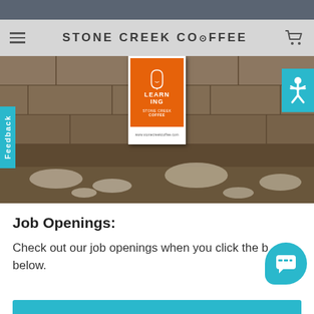STONE CREEK COFFEE
[Figure (photo): Hero image showing a stone/brick wall texture in sepia tones with an orange Stone Creek Coffee learning poster card in the center, a teal accessibility icon in the top right, and a 'Feedback' vertical tab on the left side.]
Job Openings:
Check out our job openings when you click the b below.